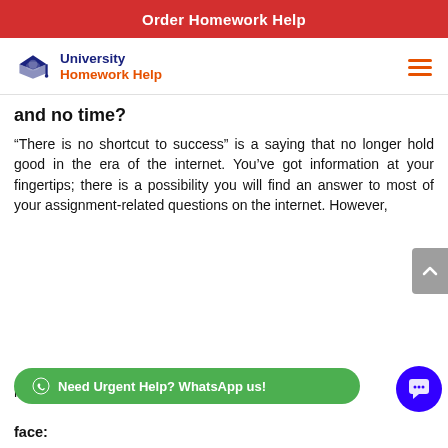Order Homework Help
[Figure (logo): University Homework Help logo with graduation cap icon, navy blue and orange text]
and no time?
“There is no shortcut to success” is a saying that no longer hold good in the era of the internet. You’ve got information at your fingertips; there is a possibility you will find an answer to most of your assignment-related questions on the internet. However, mi face: